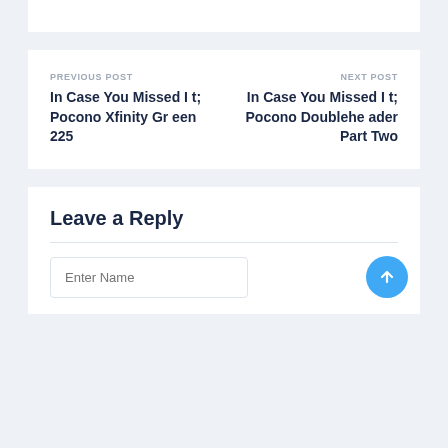PREVIOUS POST
In Case You Missed It; Pocono Xfinity Green 225
NEXT POST
In Case You Missed It; Pocono Doubleheader Part Two
Leave a Reply
Enter Name